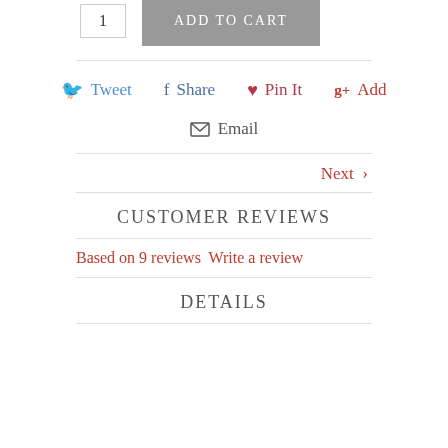1  ADD TO CART
Tweet  Share  Pin It  Add
Email
Next ›
CUSTOMER REVIEWS
Based on 9 reviews Write a review
DETAILS